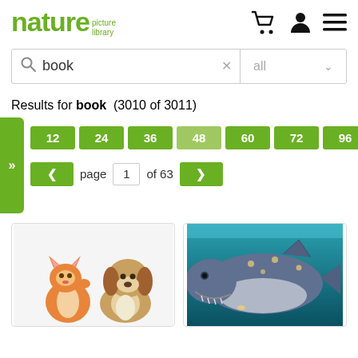nature picture library
book  all
Results for book (3010 of 3011)
12 24 36 48 60 72 96 Layout
page 1 of 63
[Figure (photo): Orange tabby kitten and boxer puppy sitting together on white background]
[Figure (photo): Large whale shark swimming underwater viewed from below/front]